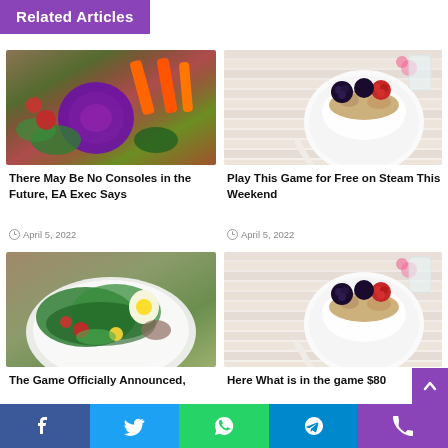Related Articles
[Figure (photo): Colorful vegetables including purple cabbage, carrots, herbs and greens on a cutting board]
There May Be No Consoles in the Future, EA Exec Says
April 5, 2022
[Figure (photo): Bowl of yogurt with granola and mixed berries (blackberries, raspberries) on white wooden surface with pink flowers and glass jar in background]
Play This Game for Free on Steam This Weekend
April 5, 2022
[Figure (photo): Colorful salad with mixed greens, tomatoes, boiled egg, and various vegetables on a white plate]
The Game Officially Announced,
[Figure (photo): Bowl of yogurt with granola and mixed berries (blackberries, raspberries) on white wooden surface with pink flowers]
Here What is in the game $80